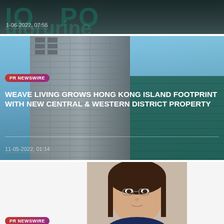[Figure (photo): Partial view of a news article card with dark teal/gray background showing cropped text and a timestamp]
1-06-2022, 07:55
[Figure (photo): News card showing a high-rise building in Hong Kong with blue sky background]
PR NEWSWIRE
WEAVE LIVING GROWS HONG KONG ISLAND FOOTPRINT WITH NEW CENTRAL & WESTERN DISTRICT PROPERTY
11-05-2022, 01:14
[Figure (photo): Partial photo of an Asian woman with glasses and dark hair on a light gray/white background]
PR NEWSWIRE